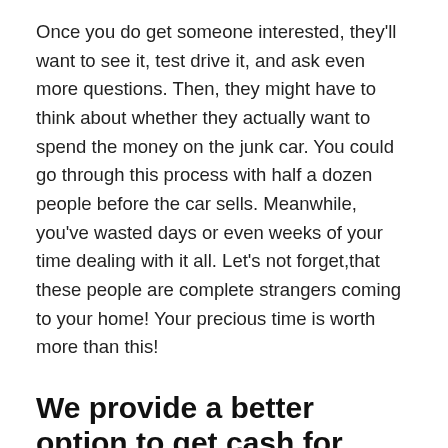Once you do get someone interested, they'll want to see it, test drive it, and ask even more questions. Then, they might have to think about whether they actually want to spend the money on the junk car. You could go through this process with half a dozen people before the car sells. Meanwhile, you've wasted days or even weeks of your time dealing with it all. Let's not forget,that these people are complete strangers coming to your home! Your precious time is worth more than this!
We provide a better option to get cash for your junk car in Severna Park
The Clunker Junker will give you cash for your car without all those headaches. It takes just a few minutes